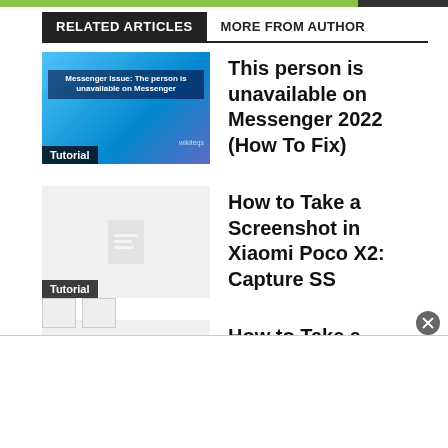RELATED ARTICLES
MORE FROM AUTHOR
[Figure (screenshot): Thumbnail image for article about Messenger issue with blue/teal gradient background and overlay text reading 'Messenger Issue: The person is unavailable on Messenger', Tutorial tag, wikiteqs watermark]
This person is unavailable on Messenger 2022 (How To Fix)
[Figure (photo): Gray placeholder thumbnail with document icon and Tutorial tag at bottom-left]
How to Take a Screenshot in Xiaomi Poco X2: Capture SS
[Figure (photo): Gray placeholder thumbnail with document icon and Tutorial tag at bottom-left]
How to Take a Screenshot in Xiaomi Poco X3: Capture SS